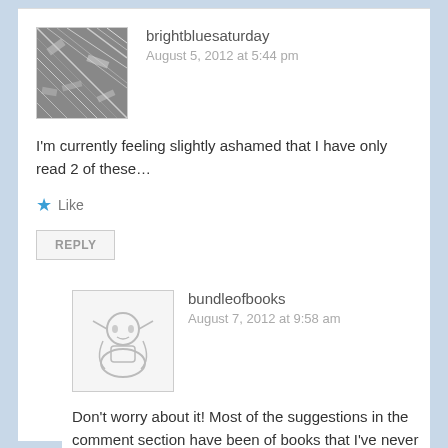brightbluesaturday
August 5, 2012 at 5:44 pm
I'm currently feeling slightly ashamed that I have only read 2 of these…
Like
REPLY
bundleofbooks
August 7, 2012 at 9:58 am
Don't worry about it! Most of the suggestions in the comment section have been of books that I've never read!
Like